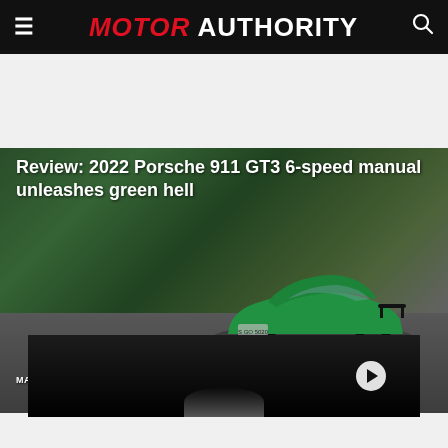MOTOR AUTHORITY
[Figure (photo): Green 2022 Porsche 911 GT3 driving on road, hero image with title overlay]
Review: 2022 Porsche 911 GT3 6-speed manual unleashes green hell
MARTIN PADGETT - EDITORIAL DIRECTOR
[Figure (screenshot): Video thumbnail showing dark background with circular play button on right side and partial car image at bottom center]